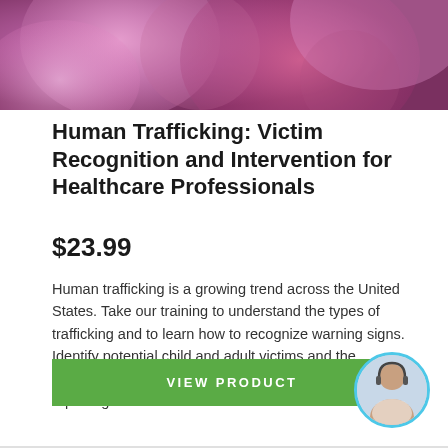[Figure (photo): Close-up abstract photo with purple and pink tones, serving as a decorative hero banner image at the top of the product card.]
Human Trafficking: Victim Recognition and Intervention for Healthcare Professionals
$23.99
Human trafficking is a growing trend across the United States. Take our training to understand the types of trafficking and to learn how to recognize warning signs. Identify potential child and adult victims and the requirements and resources for intervening and reporting.
VIEW PRODUCT